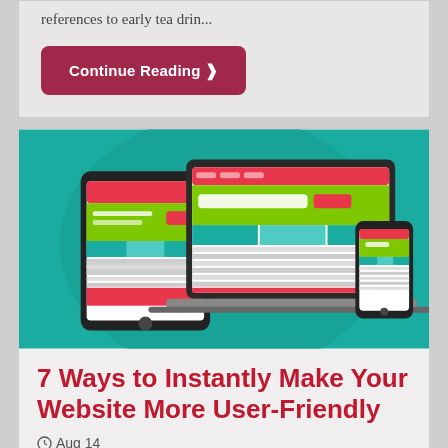references to early tea drin...
Continue Reading ❯
[Figure (illustration): Responsive web design illustration showing a tablet, laptop, and smartphone displaying a website layout with teal background, green and red UI elements]
7 Ways to Instantly Make Your Website More User-Friendly
⊙Aug 14